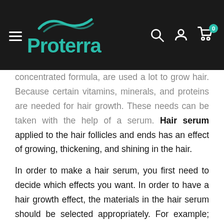Proterra — navigation header with logo, search, account, and cart icons
concentrated formula, are used a lot to grow hair. Because certain vitamins, minerals, and proteins are needed for hair growth. These needs can be taken with the help of a serum. Hair serum applied to the hair follicles and ends has an effect of growing, thickening, and shining in the hair.
In order to make a hair serum, you first need to decide which effects you want. In order to have a hair growth effect, the materials in the hair serum should be selected appropriately. For example; Ingredients such as coconut oil, jojoba oil, bay leaf, juniper, almond oil, keratin are very effective in hair growth. At the same time, plants such as nettle also have a hair growth effect. The use of such materials in the hair serum to be prepared lengthens the hair. Those who are thinking of purchasing instead of preparing hair serums can also prefer hair